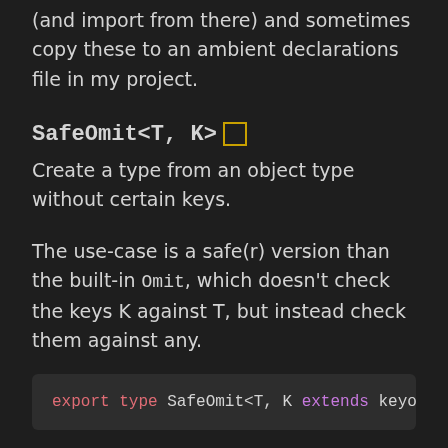(and import from there) and sometimes copy these to an ambient declarations file in my project.
SafeOmit<T, K>
Create a type from an object type without certain keys.
The use-case is a safe(r) version than the built-in Omit, which doesn't check the keys K against T, but instead check them against any.
export type SafeOmit<T, K extends keyof T> = Pi